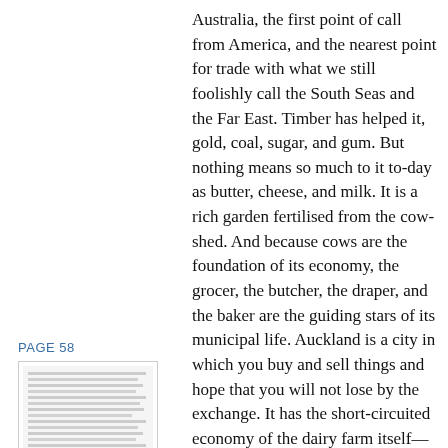Australia, the first point of call from America, and the nearest point for trade with what we still foolishly call the South Seas and the Far East. Timber has helped it, gold, coal, sugar, and gum. But nothing means so much to it to-day as butter, cheese, and milk. It is a rich garden fertilised from the cow-shed. And because cows are the foundation of its economy, the grocer, the butcher, the draper, and the baker are the guiding stars of its municipal life. Auckland is a city in which you buy and sell things and hope that you will not lose by the exchange. It has the short-circuited economy of the dairy farm itself—grass to-day, cream to-morrow, and your cheque at the end of the month. It has of course many rich men, but most of them have become rich in trade, which means
PAGE 58
[Figure (other): Thumbnail image of page 58 showing text content]